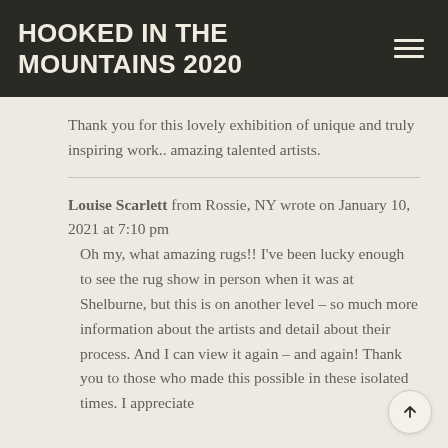HOOKED IN THE MOUNTAINS 2020
Thank you for this lovely exhibition of unique and truly inspiring work.. amazing talented artists.
Louise Scarlett from Rossie, NY wrote on January 10, 2021 at 7:10 pm
Oh my, what amazing rugs!! I've been lucky enough to see the rug show in person when it was at Shelburne, but this is on another level – so much more information about the artists and detail about their process. And I can view it again – and again! Thank you to those who made this possible in these isolated times. I appreciate